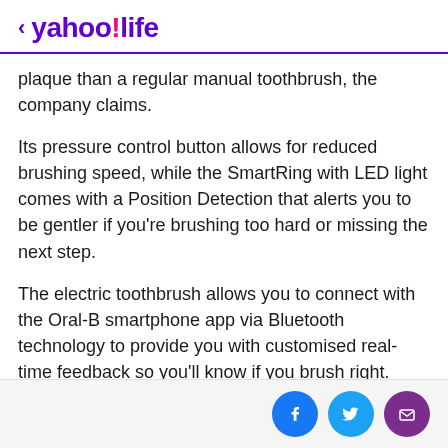< yahoo!life
plaque than a regular manual toothbrush, the company claims.
Its pressure control button allows for reduced brushing speed, while the SmartRing with LED light comes with a Position Detection that alerts you to be gentler if you're brushing too hard or missing the next step.
The electric toothbrush allows you to connect with the Oral-B smartphone app via Bluetooth technology to provide you with customised real-time feedback so you'll know if you brush right.
Not only that, a single charge is able to last you up to 12